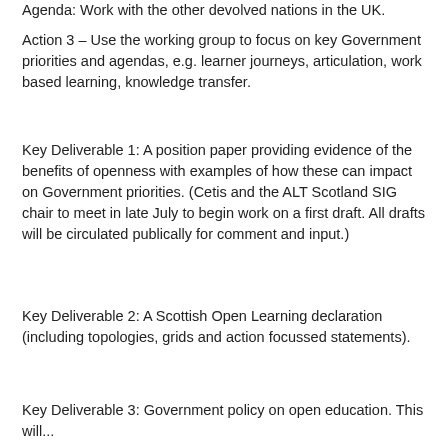Agenda: Work with the other devolved nations in the UK.
Action 3 – Use the working group to focus on key Government priorities and agendas, e.g. learner journeys, articulation, work based learning, knowledge transfer.
Key Deliverable 1: A position paper providing evidence of the benefits of openness with examples of how these can impact on Government priorities. (Cetis and the ALT Scotland SIG chair to meet in late July to begin work on a first draft. All drafts will be circulated publically for comment and input.)
Key Deliverable 2: A Scottish Open Learning declaration (including topologies, grids and action focussed statements).
Key Deliverable 3: Government policy on open education. This will...